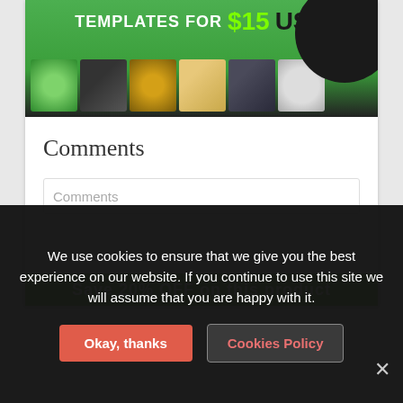[Figure (screenshot): Top banner with green background showing 'TEMPLATES FOR $15 USD' text with a dark circle overlay, and a row of thumbnail images below]
Comments
Comments
[Figure (screenshot): Partial green promotional bar at bottom of content card]
We use cookies to ensure that we give you the best experience on our website. If you continue to use this site we will assume that you are happy with it.
Okay, thanks
Cookies Policy